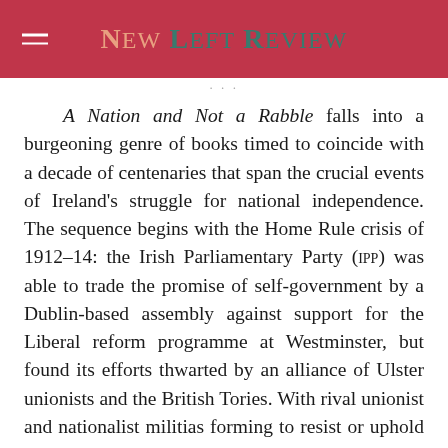New Left Review
A Nation and Not a Rabble falls into a burgeoning genre of books timed to coincide with a decade of centenaries that span the crucial events of Ireland's struggle for national independence. The sequence begins with the Home Rule crisis of 1912–14: the Irish Parliamentary Party (IPP) was able to trade the promise of self-government by a Dublin-based assembly against support for the Liberal reform programme at Westminster, but found its efforts thwarted by an alliance of Ulster unionists and the British Tories. With rival unionist and nationalist militias forming to resist or uphold the Home Rule act and the island seemingly on the brink of civil war, the European conflict